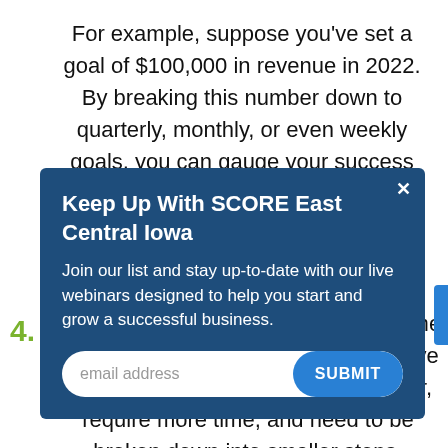For example, suppose you've set a goal of $100,000 in revenue in 2022. By breaking this number down to quarterly, monthly, or even weekly goals, you can gauge your success
[Figure (screenshot): Modal popup with dark blue background titled 'Keep Up With SCORE East Central Iowa' with body text 'Join our list and stay up-to-date with our live webinars designed to help you start and grow a successful business.' and an email address input field with a SUBMIT button.]
4.
Goals can be short- or long-term. Some goals will be easier to achieve and give you a quick win. Others will be bigger, require more time, and need to be broken down into smaller steps,